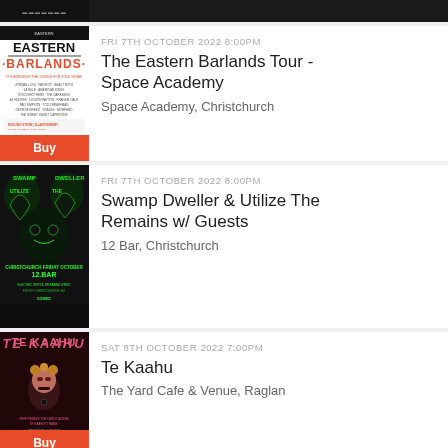[Figure (screenshot): Partial top listing row - dark background event poster thumbnail]
[Figure (photo): Eastern Barlands tour poster - white background with red text]
FRI 7TH OCTOBER 2022 8:00PM
The Eastern Barlands Tour - Space Academy
Space Academy, Christchurch
Buy
[Figure (photo): Swamp Dweller & Utilize The Remains event poster - dark with green text]
FRI 7TH OCTOBER 2022 8:00PM
Swamp Dweller & Utilize The Remains w/ Guests
12 Bar, Christchurch
[Figure (photo): Te Kaahu event poster - dark with woman and pink text]
SAT 8TH OCTOBER 2022 7:00PM
Te Kaahu
The Yard Cafe & Venue, Raglan
Buy